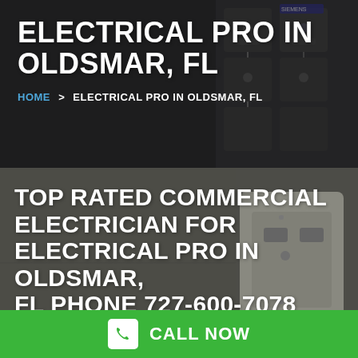ELECTRICAL PRO IN OLDSMAR, FL
HOME > ELECTRICAL PRO IN OLDSMAR, FL
[Figure (photo): Electrical control panel with industrial contactors and wiring, dark background]
TOP RATED COMMERCIAL ELECTRICIAN FOR ELECTRICAL PRO IN OLDSMAR, FL PHONE 727-600-7078
[Figure (photo): Close-up of electrical outlet/panel on a wall]
CALL NOW